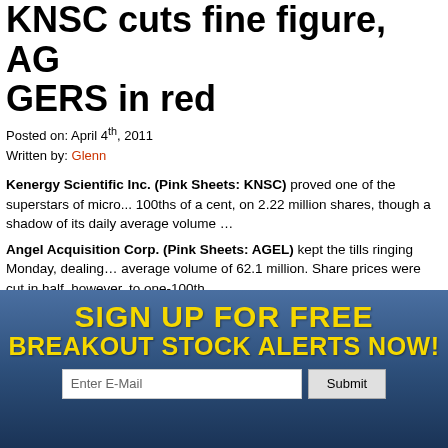KNSC cuts fine figure, AGEL GERS in red
Posted on: April 4th, 2011
Written by: Glenn
Kenergy Scientific Inc. (Pink Sheets: KNSC) proved one of the superstars of micro... 100ths of a cent, on 2.22 million shares, though a shadow of its daily average volume...
Angel Acquisition Corp. (Pink Sheets: AGEL) kept the tills ringing Monday, dealing... average volume of 62.1 million. Share prices were cut in half, however, to one-100th...
Greenshift Corp. (Pink Sheets: GERS) saw its share prices cut in half to one-100th... while high, was still quite a bit below its average of 154.6 million.
Tags: AGEL, alternative energy stocks, financial stocks, GERS, industrial stocks, KNSC, penny stocks, pink sheets, small cap stocks
Categories: Alternative Energy Stocks, Pink Sheets
[Figure (infographic): Sign up for free breakout stock alerts banner with email input and submit button]